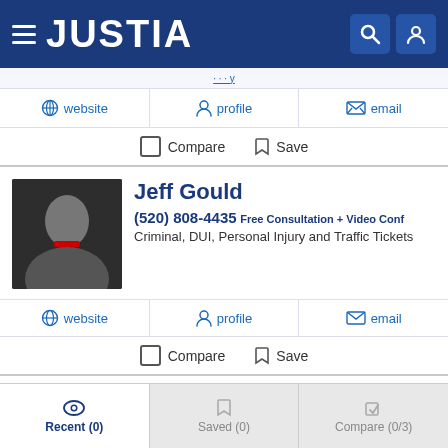JUSTIA
website | profile | email
Compare  Save
Jeff Gould
(520) 808-4435 Free Consultation + Video Conf
Criminal, DUI, Personal Injury and Traffic Tickets
website | profile | email
Compare  Save
Carlos Medina
Recent (0)  Saved (0)  Compare (0/3)